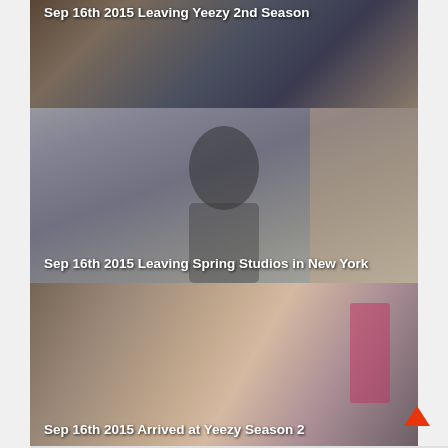[Figure (photo): Partial photo at top: people walking, text overlay 'Sep 16th 2015 Leaving Yeezy 2nd Season']
Sep 16th 2015 Leaving Yeezy 2nd Season
[Figure (photo): Photo of young woman with braided hair and sunglasses leaving Spring Studios in New York]
Sep 16th 2015 Leaving Spring Studios in New York
[Figure (photo): Photo of woman in beige/tan outfit at Yeezy Season 2 event]
Sep 16th 2015 Arrived at Yeezy Season 2